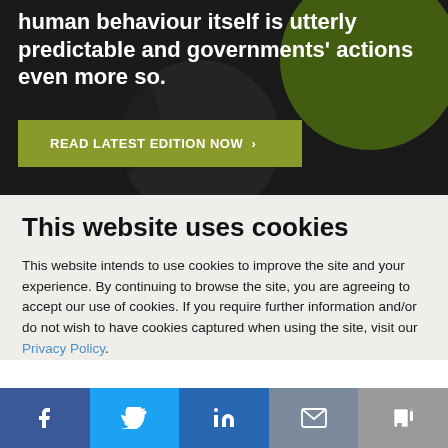human behaviour itself is utterly predictable and governments' actions even more so.
READ LATEST EDITION NOW >
This website uses cookies
This website intends to use cookies to improve the site and your experience. By continuing to browse the site, you are agreeing to accept our use of cookies. If you require further information and/or do not wish to have cookies captured when using the site, visit our Privacy Policy.
ACCEPT COOKIES